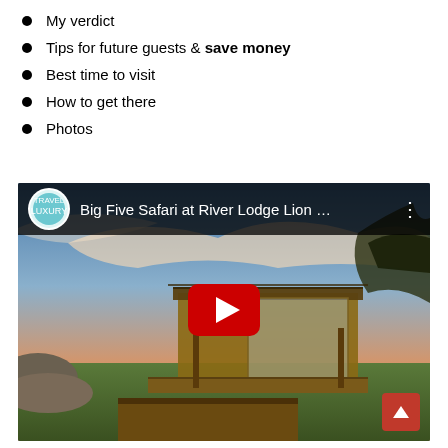My verdict
Tips for future guests & save money
Best time to visit
How to get there
Photos
[Figure (screenshot): YouTube video thumbnail showing 'Big Five Safari at River Lodge Lion …' with a safari lodge treehouse at sunset and a YouTube play button overlay]